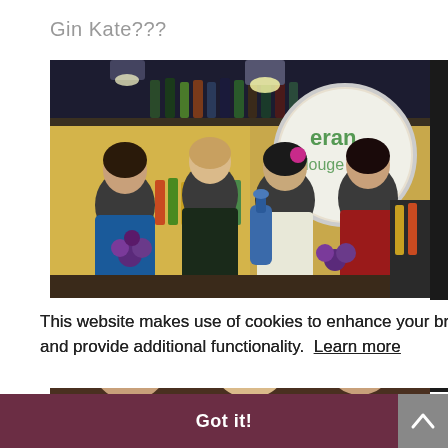Gin Kate???
[Figure (photo): Four women in formal/party attire at a bar, smiling and pouring gin from a blue bottle. Bar shelves with bottles visible in background, circular mirror with 'lounge' text.]
This website makes use of cookies to enhance your browsing experience and provide additional functionality.  Learn more
Got it!